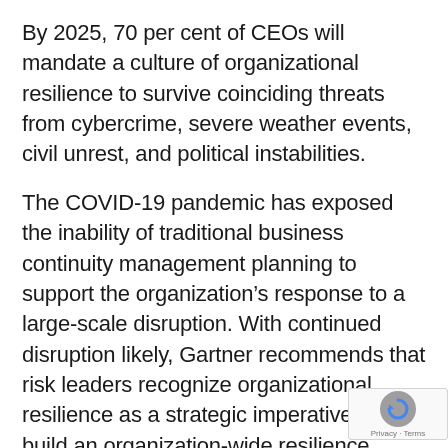By 2025, 70 per cent of CEOs will mandate a culture of organizational resilience to survive coinciding threats from cybercrime, severe weather events, civil unrest, and political instabilities.
The COVID-19 pandemic has exposed the inability of traditional business continuity management planning to support the organization's response to a large-scale disruption. With continued disruption likely, Gartner recommends that risk leaders recognize organizational resilience as a strategic imperative and build an organization-wide resilience strategy that also engages stakeholders, customers, and suppliers.